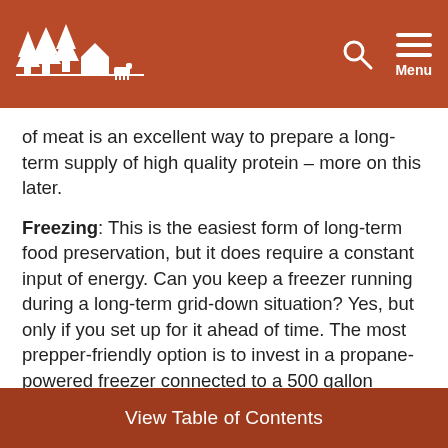Menu
of meat is an excellent way to prepare a long-term supply of high quality protein – more on this later.
Freezing: This is the easiest form of long-term food preservation, but it does require a constant input of energy. Can you keep a freezer running during a long-term grid-down situation? Yes, but only if you set up for it ahead of time. The most prepper-friendly option is to invest in a propane-powered freezer connected to a 500 gallon torpedo tank of propane. This is a serious investment but it also offers amazing advantages. The largest propane
View Table of Contents